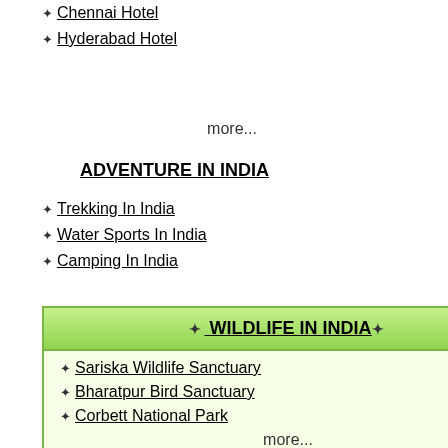Chennai Hotel
Hyderabad Hotel
more...
ADVENTURE IN INDIA
Trekking In India
Water Sports In India
Camping In India
WILDLIFE IN INDIA
Sariska Wildlife Sanctuary
Bharatpur Bird Sanctuary
Corbett National Park
more...